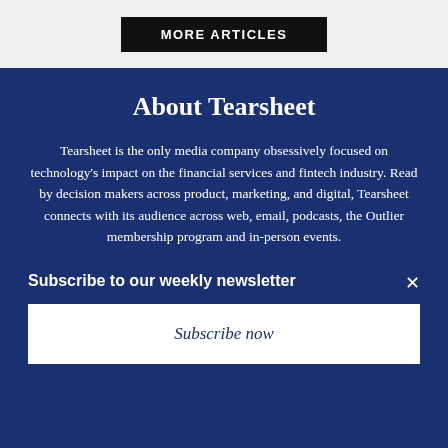MORE ARTICLES
About Tearsheet
Tearsheet is the only media company obsessively focused on technology's impact on the financial services and fintech industry. Read by decision makers across product, marketing, and digital, Tearsheet connects with its audience across web, email, podcasts, the Outlier membership program and in-person events.
Subscribe to our weekly newsletter
Subscribe now